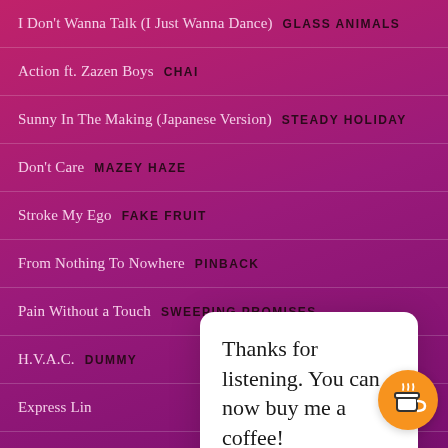I Don't Wanna Talk (I Just Wanna Dance)  GLASS ANIMALS
Action ft. Zazen Boys  CHAI
Sunny In The Making (Japanese Version)  STEADY HOLIDAY
Don't Care  MAZEY HAZE
Stroke My Ego  FAKE FRUIT
From Nothing To Nowhere  PINBACK
Pain Without a Touch  SWEEPING PROMISES
H.V.A.C.  DUMMY
Express Lin...
Exopalace
Talk Memo...
Phyllis  LETTUCE
Thanks for listening. You can now buy me a coffee!